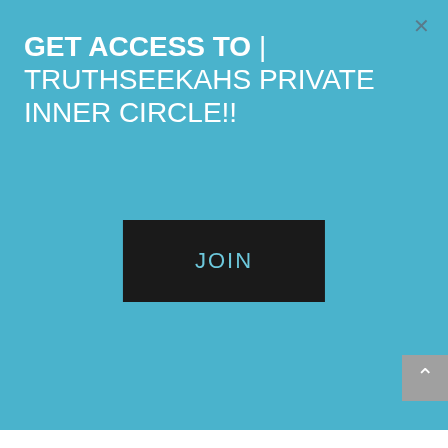GET ACCESS TO | TRUTHSEEKAHS PRIVATE INNER CIRCLE!!
[Figure (screenshot): Black button with cyan text reading JOIN]
every human is the longing for the supernatural yet there is a right and wrong way to engage with the spirit world. We are given many examples within the scriptures of other worldly interaction with beings both malevolent and benevolent.